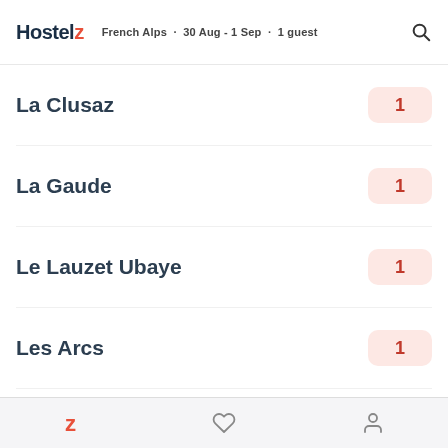Hostelz · French Alps · 30 Aug - 1 Sep · 1 guest
La Clusaz — 1
La Gaude — 1
Le Lauzet Ubaye — 1
Les Arcs — 1
Les Deux Alpes — 3
Les Menuires — 1